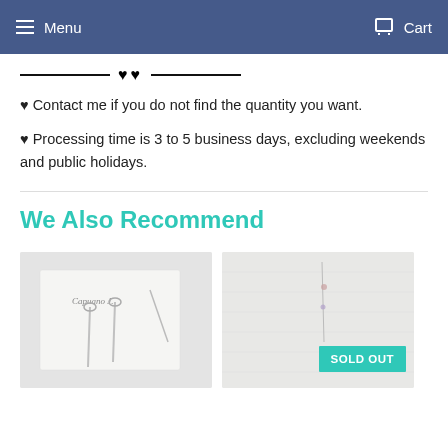Menu  Cart
♥ Contact me if you do not find the quantity you want.
♥ Processing time is 3 to 5 business days, excluding weekends and public holidays.
We Also Recommend
[Figure (photo): Product photo of earrings on branded card by Capuano J]
[Figure (photo): Product photo of jewelry item with SOLD OUT badge]